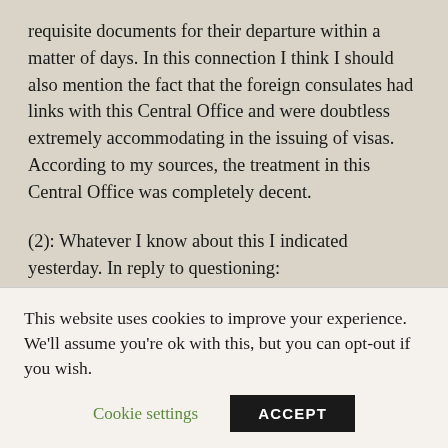requisite documents for their departure within a matter of days. In this connection I think I should also mention the fact that the foreign consulates had links with this Central Office and were doubtless extremely accommodating in the issuing of visas. According to my sources, the treatment in this Central Office was completely decent.
(2): Whatever I know about this I indicated yesterday. In reply to questioning:
Anyhow, I know of nothing, from any of Eichmann's postings
in Vienna, Berlin or Hungary, which would indicate that he
This website uses cookies to improve your experience. We'll assume you're ok with this, but you can opt-out if you wish.
Cookie settings  ACCEPT